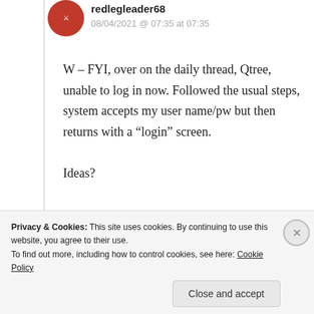redlegleader68
08/04/2021 @ 07:35 at 07:35
W – FYI, over on the daily thread, Qtree, unable to log in now. Followed the usual steps, system accepts my user name/pw but then returns with a “login” screen.

Ideas?
★ Like
↳ Reply
Privacy & Cookies: This site uses cookies. By continuing to use this website, you agree to their use.
To find out more, including how to control cookies, see here: Cookie Policy
Close and accept